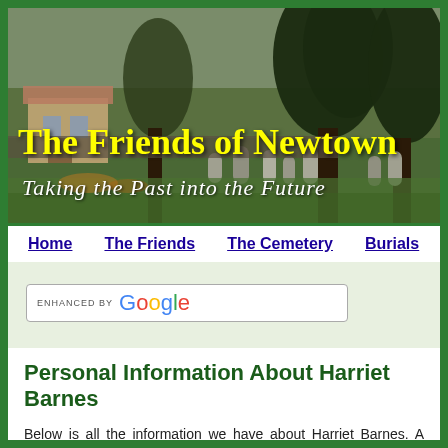[Figure (photo): Cemetery scene banner showing gravestones, trees, and a house in the background. Yellow Gothic text reads 'The Friends of Newtown' and white italic text reads 'Taking the Past into the Future'.]
Home   The Friends   The Cemetery   Burials
ENHANCED BY Google
Personal Information About Harriet Barnes
Below is all the information we have about Harriet Barnes. A have additional information, certificates or pictures, please co